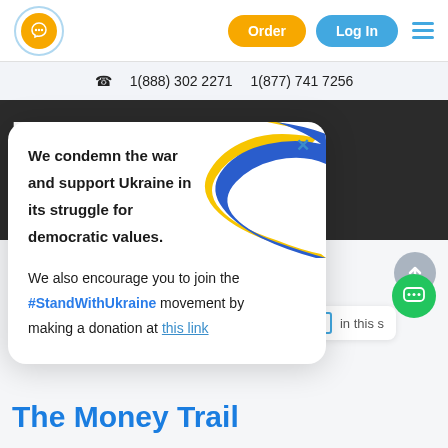Order  Log In
1(888) 302 2271   1(877) 741 7256
Essay
We condemn the war and support Ukraine in its struggle for democratic values.

We also encourage you to join the #StandWithUkraine movement by making a donation at this link
Search
The Money Trail